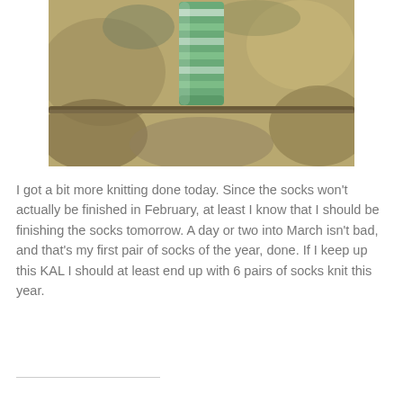[Figure (photo): A knitted green and white striped sock or garment held up against a floral/nature background with warm earth tones]
I got a bit more knitting done today.  Since the socks won't actually be finished in February, at least I know that I should be finishing the socks tomorrow.  A day or two into March isn't bad, and that's my first pair of socks of the year, done.  If I keep up this KAL I should at least end up with 6 pairs of socks knit this year.